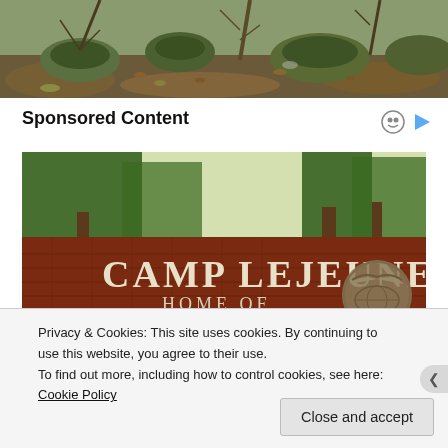[Figure (photo): Forest scene with moss-covered rocks and bare trees, outdoor nature photography]
Sponsored Content
[Figure (photo): Camp Lejeune entrance brick sign reading 'CAMP LEJEUNE HOME OF EXPEDITIONARY' with USMC eagle globe and anchor emblem, trees in background]
Privacy & Cookies: This site uses cookies. By continuing to use this website, you agree to their use.
To find out more, including how to control cookies, see here: Cookie Policy
Close and accept